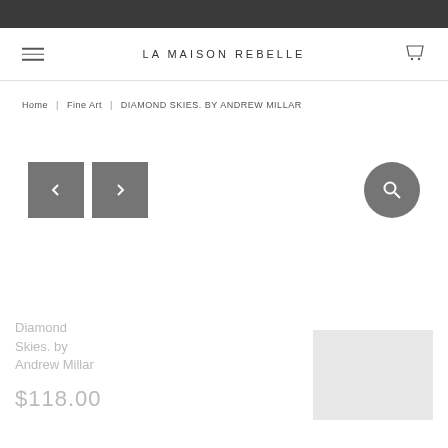LA MAISON REBELLE
Home | Fine Art | DIAMOND SKIES. BY ANDREW MILLAR
[Figure (screenshot): Navigation arrow buttons (previous/next) and a circular search button on a product page]
Diamond Skies. by Andrew Millar
$118.00